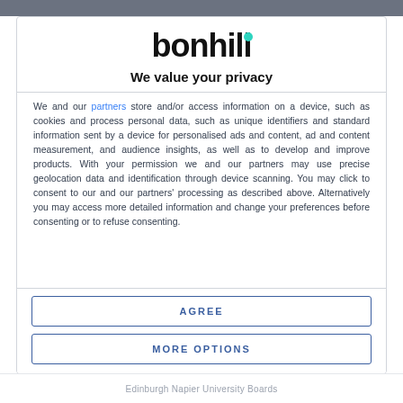[Figure (logo): Bonhill logo — black bold lowercase text 'bonhill' with a teal/mint dot above the letter 'i']
We value your privacy
We and our partners store and/or access information on a device, such as cookies and process personal data, such as unique identifiers and standard information sent by a device for personalised ads and content, ad and content measurement, and audience insights, as well as to develop and improve products. With your permission we and our partners may use precise geolocation data and identification through device scanning. You may click to consent to our and our partners' processing as described above. Alternatively you may access more detailed information and change your preferences before consenting…
AGREE
MORE OPTIONS
Edinburgh Napier University Boards